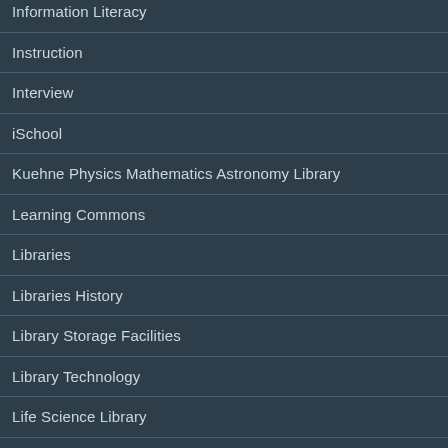Information Literacy
Instruction
Interview
iSchool
Kuehne Physics Mathematics Astronomy Library
Learning Commons
Libraries
Libraries History
Library Storage Facilities
Library Technology
Life Science Library
LLILAS Benson
Mallet Chemistry Library